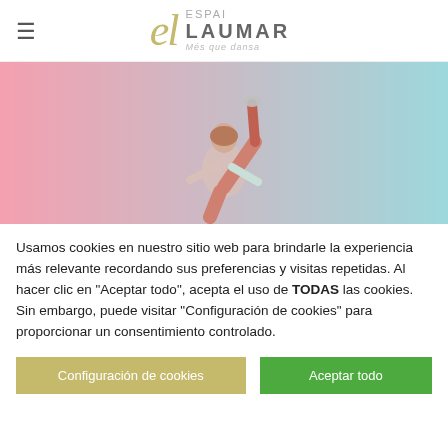≡  el  ESPAI LAUMAR Més que dansa
[Figure (photo): Dancer performing a stylish move with one leg raised high, wearing pink pants and a light top, against a pink-to-teal gradient background.]
Usamos cookies en nuestro sitio web para brindarle la experiencia más relevante recordando sus preferencias y visitas repetidas. Al hacer clic en "Aceptar todo", acepta el uso de TODAS las cookies. Sin embargo, puede visitar "Configuración de cookies" para proporcionar un consentimiento controlado.
Configuración de cookies
Aceptar todo